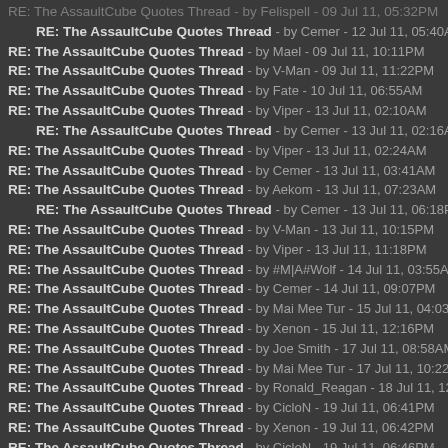RE: The AssaultCube Quotes Thread - by Felispell - 09 Jul 11, 05:32PM
RE: The AssaultCube Quotes Thread - by Cemer - 12 Jul 11, 05:40AM
RE: The AssaultCube Quotes Thread - by Mael - 09 Jul 11, 10:11PM
RE: The AssaultCube Quotes Thread - by V-Man - 09 Jul 11, 11:22PM
RE: The AssaultCube Quotes Thread - by Fate - 10 Jul 11, 06:55AM
RE: The AssaultCube Quotes Thread - by Viper - 13 Jul 11, 02:10AM
RE: The AssaultCube Quotes Thread - by Cemer - 13 Jul 11, 02:16AM
RE: The AssaultCube Quotes Thread - by Viper - 13 Jul 11, 02:24AM
RE: The AssaultCube Quotes Thread - by Cemer - 13 Jul 11, 03:41AM
RE: The AssaultCube Quotes Thread - by Aekom - 13 Jul 11, 07:23AM
RE: The AssaultCube Quotes Thread - by Cemer - 13 Jul 11, 06:18PM
RE: The AssaultCube Quotes Thread - by V-Man - 13 Jul 11, 10:15PM
RE: The AssaultCube Quotes Thread - by Viper - 13 Jul 11, 11:18PM
RE: The AssaultCube Quotes Thread - by #M|A#Wolf - 14 Jul 11, 03:55AM
RE: The AssaultCube Quotes Thread - by Cemer - 14 Jul 11, 09:07PM
RE: The AssaultCube Quotes Thread - by Mai Mee Tur - 15 Jul 11, 04:03AM
RE: The AssaultCube Quotes Thread - by Xenon - 15 Jul 11, 12:16PM
RE: The AssaultCube Quotes Thread - by Joe Smith - 17 Jul 11, 08:58AM
RE: The AssaultCube Quotes Thread - by Mai Mee Tur - 17 Jul 11, 10:22PM
RE: The AssaultCube Quotes Thread - by Ronald_Reagan - 18 Jul 11, 12:29AM
RE: The AssaultCube Quotes Thread - by CicloN - 19 Jul 11, 06:41PM
RE: The AssaultCube Quotes Thread - by Xenon - 19 Jul 11, 06:42PM
RE: The AssaultCube Quotes Thread - by CicloN - 19 Jul 11, 06:46PM
RE: The AssaultCube Quotes Thread - by Fate - 20 Jul 11, 01:54AM
RE: The AssaultCube Quotes Thread - by Fate - 20 Jul 11, 05:55AM